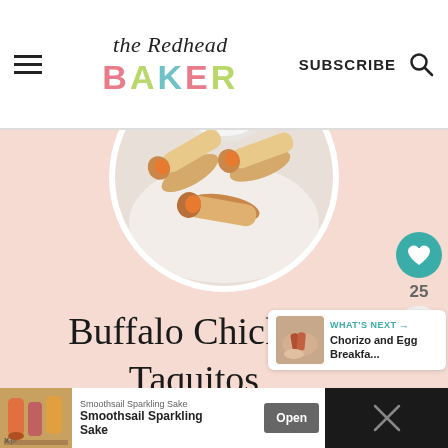the Redhead BAKER — SUBSCRIBE [search icon]
[Figure (photo): Circular cropped photo of buffalo chicken taquitos on a plate with dipping sauce]
Buffalo Chicken Taquitos
[Figure (infographic): Social sidebar with heart/like button showing 25 and share button]
[Figure (infographic): What's Next widget showing Chorizo and Egg Breakfast thumbnail]
WHAT'S NEXT → Chorizo and Egg Breakfa...
[Figure (infographic): Advertisement banner: Smoothsail Sparkling Sake with Open button]